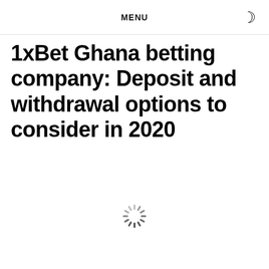MENU
1xBet Ghana betting company: Deposit and withdrawal options to consider in 2020
[Figure (other): Loading spinner icon — animated circular dashes indicating content is loading]